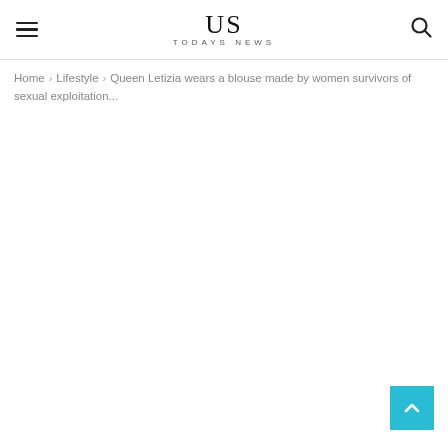US TODAYS NEWS
Home › Lifestyle › Queen Letizia wears a blouse made by women survivors of sexual exploitation...